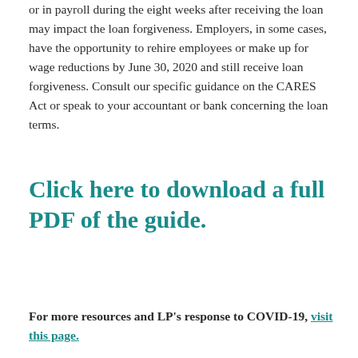or in payroll during the eight weeks after receiving the loan may impact the loan forgiveness. Employers, in some cases, have the opportunity to rehire employees or make up for wage reductions by June 30, 2020 and still receive loan forgiveness. Consult our specific guidance on the CARES Act or speak to your accountant or bank concerning the loan terms.
Click here to download a full PDF of the guide.
For more resources and LP's response to COVID-19, visit this page.